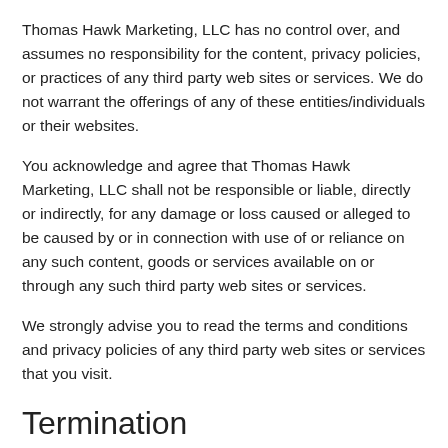Thomas Hawk Marketing, LLC has no control over, and assumes no responsibility for the content, privacy policies, or practices of any third party web sites or services. We do not warrant the offerings of any of these entities/individuals or their websites.
You acknowledge and agree that Thomas Hawk Marketing, LLC shall not be responsible or liable, directly or indirectly, for any damage or loss caused or alleged to be caused by or in connection with use of or reliance on any such content, goods or services available on or through any such third party web sites or services.
We strongly advise you to read the terms and conditions and privacy policies of any third party web sites or services that you visit.
Termination
We may terminate or suspend your account and bar access to the Service immediately, without prior notice or liability, under our sole